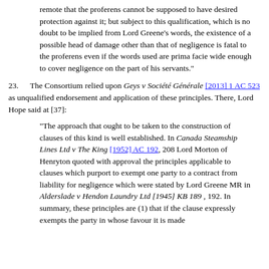remote that the proferens cannot be supposed to have desired protection against it; but subject to this qualification, which is no doubt to be implied from Lord Greene's words, the existence of a possible head of damage other than that of negligence is fatal to the proferens even if the words used are prima facie wide enough to cover negligence on the part of his servants."
23. The Consortium relied upon Geys v Société Générale [2013] 1 AC 523 as unqualified endorsement and application of these principles. There, Lord Hope said at [37]:
"The approach that ought to be taken to the construction of clauses of this kind is well established. In Canada Steamship Lines Ltd v The King [1952] AC 192, 208 Lord Morton of Henryton quoted with approval the principles applicable to clauses which purport to exempt one party to a contract from liability for negligence which were stated by Lord Greene MR in Alderslade v Hendon Laundry Ltd [1945] KB 189 , 192. In summary, these principles are (1) that if the clause expressly exempts the party in whose favour it is made